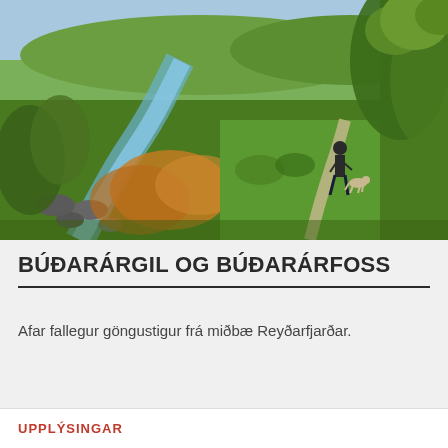[Figure (photo): Outdoor nature photo showing a person walking a dog along a grassy trail beside a rocky stream, surrounded by lush green vegetation including trees and shrubs. The scene appears to be in Iceland.]
BÚÐARÁRGIL OG BÚÐARÁRFOSS
Afar fallegur göngustigur frá miðbæ Reyðarfjarðar.